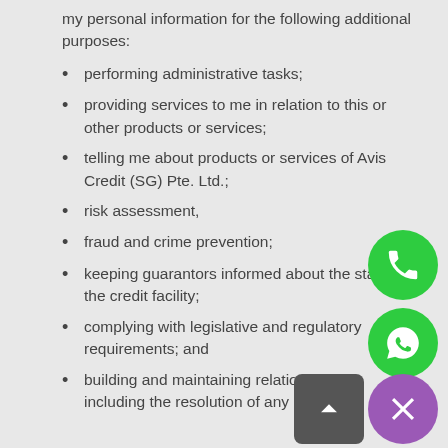my personal information for the following additional purposes:
performing administrative tasks;
providing services to me in relation to this or other products or services;
telling me about products or services of Avis Credit (SG) Pte. Ltd.;
risk assessment,
fraud and crime prevention;
keeping guarantors informed about the status of the credit facility;
complying with legislative and regulatory requirements; and
building and maintaining relationships with, including the resolution of any disputes.